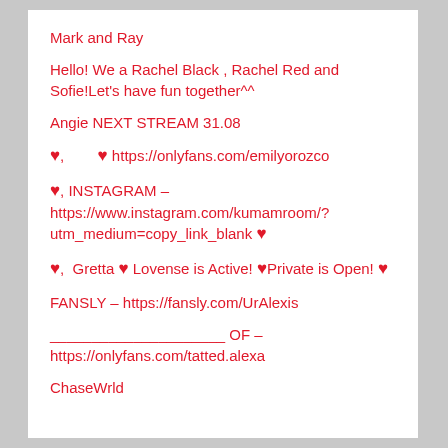Mark and Ray
Hello! We a Rachel Black , Rachel Red and Sofie!Let's have fun together^^
Angie NEXT STREAM 31.08
♥,        ♥ https://onlyfans.com/emilyorozco
♥, INSTAGRAM – https://www.instagram.com/kumamroom/?utm_medium=copy_link_blank ♥
♥,  Gretta ♥ Lovense is Active! ♥Private is Open! ♥
FANSLY – https://fansly.com/UrAlexis
_____________________ OF – https://onlyfans.com/tatted.alexa
ChaseWrld